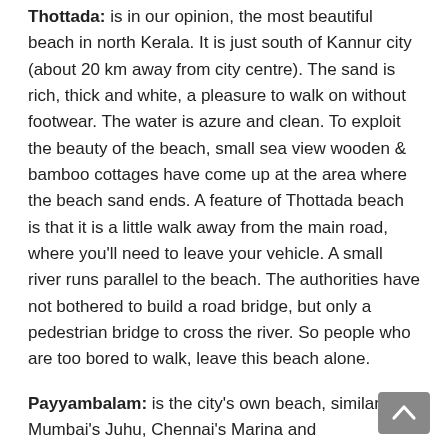Thottada: is in our opinion, the most beautiful beach in north Kerala. It is just south of Kannur city (about 20 km away from city centre). The sand is rich, thick and white, a pleasure to walk on without footwear. The water is azure and clean. To exploit the beauty of the beach, small sea view wooden & bamboo cottages have come up at the area where the beach sand ends. A feature of Thottada beach is that it is a little walk away from the main road, where you'll need to leave your vehicle. A small river runs parallel to the beach. The authorities have not bothered to build a road bridge, but only a pedestrian bridge to cross the river. So people who are too bored to walk, leave this beach alone.
Payyambalam: is the city's own beach, similar to Mumbai's Juhu, Chennai's Marina and Thiruvananthapuram's Shankhumukham. The beach is at the northern end of the city, an area which is fast developing with skyscrapers.
Ettikulam: is a beach about 16 km to the north of the city and is